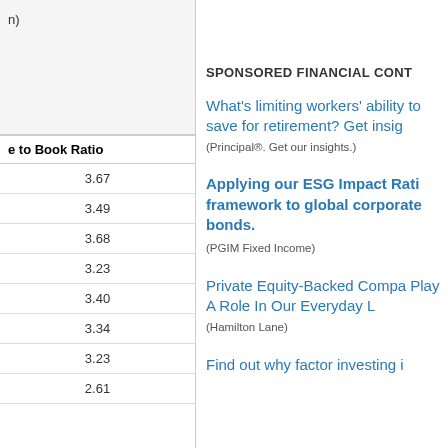n)
| e to Book Ratio |
| --- |
| 3.67 |
| 3.49 |
| 3.68 |
| 3.23 |
| 3.40 |
| 3.34 |
| 3.23 |
| 2.61 |
SPONSORED FINANCIAL CONT...
What's limiting workers' ability to save for retirement? Get insig...
(Principal®. Get our insights.)
Applying our ESG Impact Rati... framework to global corporate bonds.
(PGIM Fixed Income)
Private Equity-Backed Compa... Play A Role In Our Everyday L...
(Hamilton Lane)
Find out why factor investing i...